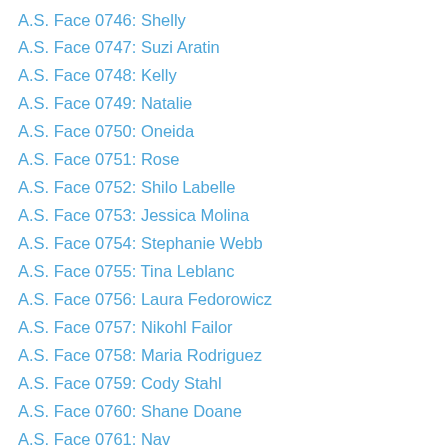A.S. Face 0746: Shelly
A.S. Face 0747: Suzi Aratin
A.S. Face 0748: Kelly
A.S. Face 0749: Natalie
A.S. Face 0750: Oneida
A.S. Face 0751: Rose
A.S. Face 0752: Shilo Labelle
A.S. Face 0753: Jessica Molina
A.S. Face 0754: Stephanie Webb
A.S. Face 0755: Tina Leblanc
A.S. Face 0756: Laura Fedorowicz
A.S. Face 0757: Nikohl Failor
A.S. Face 0758: Maria Rodriguez
A.S. Face 0759: Cody Stahl
A.S. Face 0760: Shane Doane
A.S. Face 0761: Nav
A.S. Face 0762: Hazel
A.S. Face 0763: Amanda Rhudy
A.S. Face 0764: Melanie Ardley
A.S. Face 0765: D